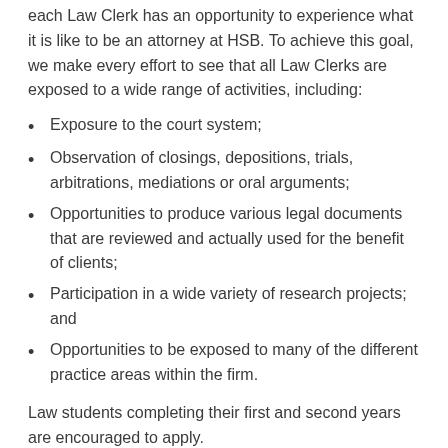each Law Clerk has an opportunity to experience what it is like to be an attorney at HSB. To achieve this goal, we make every effort to see that all Law Clerks are exposed to a wide range of activities, including:
Exposure to the court system;
Observation of closings, depositions, trials, arbitrations, mediations or oral arguments;
Opportunities to produce various legal documents that are reviewed and actually used for the benefit of clients;
Participation in a wide variety of research projects; and
Opportunities to be exposed to many of the different practice areas within the firm.
Law students completing their first and second years are encouraged to apply.
We will begin accepting resumes for 1L law clerks in January